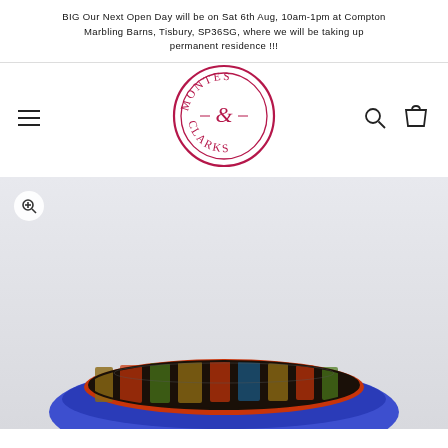BIG Our Next Open Day will be on Sat 6th Aug, 10am-1pm at Compton Marbling Barns, Tisbury, SP36SG, where we will be taking up permanent residence !!!
[Figure (logo): Montes & Clark circular logo in dark red/crimson text on white background]
[Figure (photo): Blue wooden bowl or platter with patterned/printed fabric cushion/item resting inside it, on a light grey background. A circular zoom button is visible in the top-left corner of the photo.]